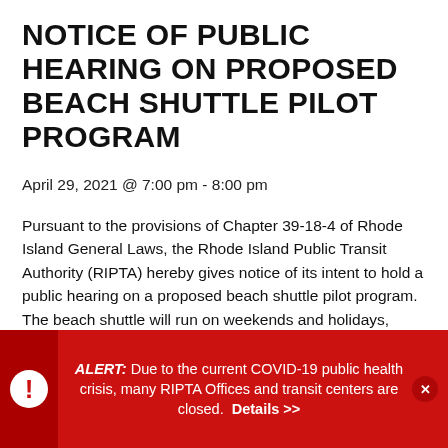NOTICE OF PUBLIC HEARING ON PROPOSED BEACH SHUTTLE PILOT PROGRAM
April 29, 2021 @ 7:00 pm - 8:00 pm
Pursuant to the provisions of Chapter 39-18-4 of Rhode Island General Laws, the Rhode Island Public Transit Authority (RIPTA) hereby gives notice of its intent to hold a public hearing on a proposed beach shuttle pilot program. The beach shuttle will run on weekends and holidays, June 19 through August 27, 2021 in the Newport and Middletown area.
ALERT: Due to the current COVID-19 public health crisis, many RIPTA Offices and transit centers are closed. Details >>